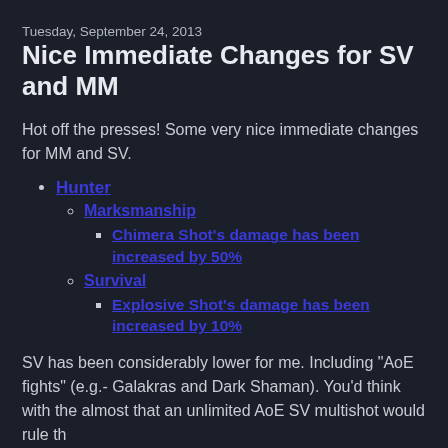Tuesday, September 24, 2013
Nice Immediate Changes for SV and MM
Hot off the presses!  Some very nice immediate changes for MM and SV.
Hunter
Marksmanship
Chimera Shot's damage has been increased by 50%
Survival
Explosive Shot's damage has been increased by 10%
SV has been considerably lower for me.  Including "AoE fights" (e.g.- Galakras and Dark Shaman).   You'd think with the almost that an unlimited AoE SV multishot would rule the